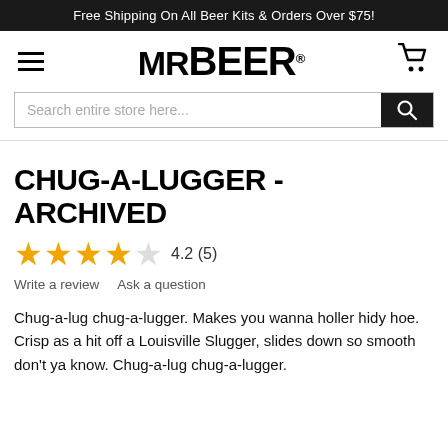Free Shipping On All Beer Kits & Orders Over $75!
[Figure (logo): MrBeer logo in bold black text with registered trademark symbol]
CHUG-A-LUGGER - ARCHIVED
4.2 (5)
Write a review   Ask a question
Chug-a-lug chug-a-lugger. Makes you wanna holler hidy hoe. Crisp as a hit off a Louisville Slugger, slides down so smooth don't ya know. Chug-a-lug chug-a-lugger.